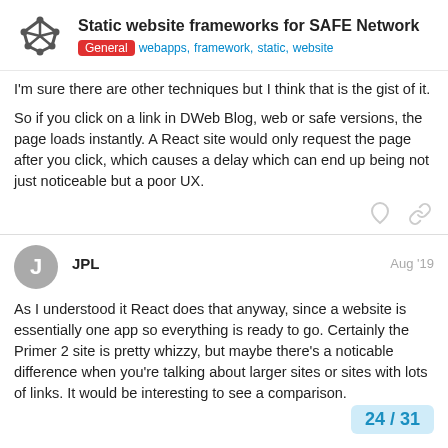Static website frameworks for SAFE Network | General  webapps, framework, static, website
I'm sure there are other techniques but I think that is the gist of it.
So if you click on a link in DWeb Blog, web or safe versions, the page loads instantly. A React site would only request the page after you click, which causes a delay which can end up being not just noticeable but a poor UX.
JPL  Aug '19
As I understood it React does that anyway, since a website is essentially one app so everything is ready to go. Certainly the Primer 2 site is pretty whizzy, but maybe there's a noticable difference when you're talking about larger sites or sites with lots of links. It would be interesting to see a comparison.
24 / 31